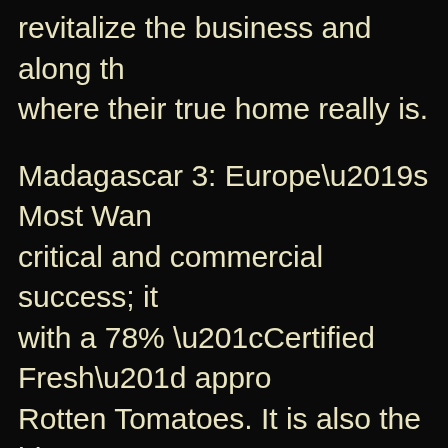revitalize the business and along th where their true home really is.
Madagascar 3: Europe’s Most Wan critical and commercial success; it with a 78% “Certified Fresh” appro Rotten Tomatoes. It is also the hig worldwide gross of over $667 millio
Movie Trailers